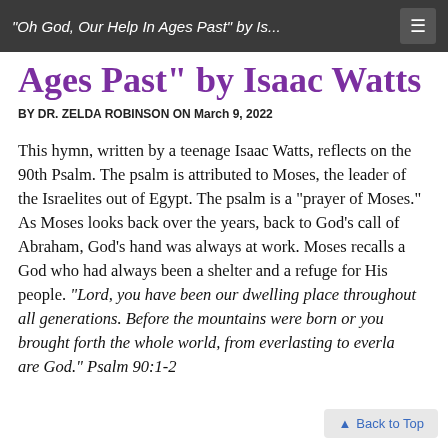“Oh God, Our Help In Ages Past” by Is...
Ages Past” by Isaac Watts
BY DR. ZELDA ROBINSON ON March 9, 2022
This hymn, written by a teenage Isaac Watts, reflects on the 90th Psalm. The psalm is attributed to Moses, the leader of the Israelites out of Egypt. The psalm is a “prayer of Moses.” As Moses looks back over the years, back to God’s call of Abraham, God’s hand was always at work. Moses recalls a God who had always been a shelter and a refuge for His people. “Lord, you have been our dwelling place throughout all generations. Before the mountains were born or you brought forth the whole world, from everlasting to everlasting you are God.” Psalm 90:1-2